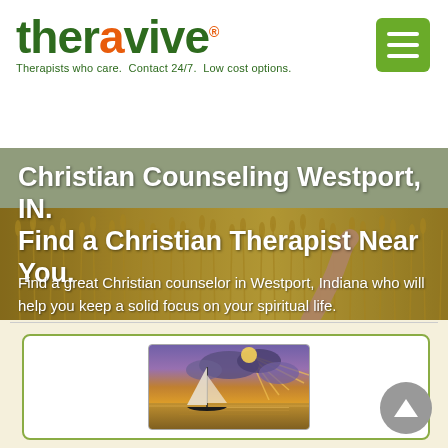[Figure (logo): Theravive logo with green and orange text, tagline: Therapists who care. Contact 24/7. Low cost options.]
[Figure (other): Green hamburger menu button in top right corner]
Christian Counseling Westport, IN. Find a Christian Therapist Near You.
Find a great Christian counselor in Westport, Indiana who will help you keep a solid focus on your spiritual life.
[Figure (photo): Sailboat on calm water at sunset with dramatic cloudy sky, warm orange and purple tones]
[Figure (other): Grey circular scroll-to-top button with upward arrow]